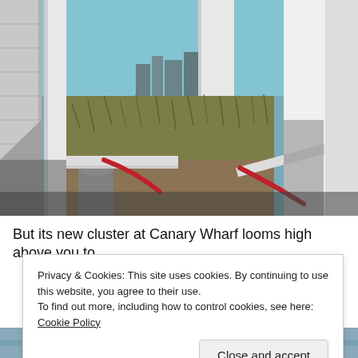[Figure (photo): Outdoor photo looking through a building corridor or walkway with white pillars, metal railings including red handrails, overgrown vegetation in the middle distance, and a city skyline including Canary Wharf buildings visible in the background under a blue sky.]
But its new cluster at Canary Wharf looms high above you to
Privacy & Cookies: This site uses cookies. By continuing to use this website, you agree to their use.
To find out more, including how to control cookies, see here: Cookie Policy
Close and accept
[Figure (photo): Partial bottom strip of another outdoor photo, showing what appears to be a railing or structure in blue/grey tones.]